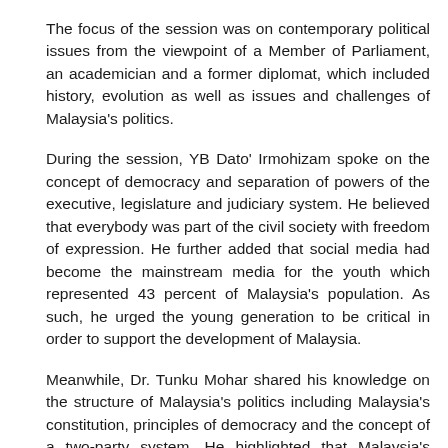The focus of the session was on contemporary political issues from the viewpoint of a Member of Parliament, an academician and a former diplomat, which included history, evolution as well as issues and challenges of Malaysia's politics.
During the session, YB Dato' Irmohizam spoke on the concept of democracy and separation of powers of the executive, legislature and judiciary system. He believed that everybody was part of the civil society with freedom of expression. He further added that social media had become the mainstream media for the youth which represented 43 percent of Malaysia's population. As such, he urged the young generation to be critical in order to support the development of Malaysia.
Meanwhile, Dr. Tunku Mohar shared his knowledge on the structure of Malaysia's politics including Malaysia's constitution, principles of democracy and the concept of a two-party system. He highlighted that Malaysia's current economy including the 11th Malaysia's Plan would be an important factor which could determine the future direction of Malaysia's politics.
Ambassador Datuk Salman Ahmad as the third panellist, elaborated on the important characteristic required in young diplomats prior to their postings abroad namely the sense of